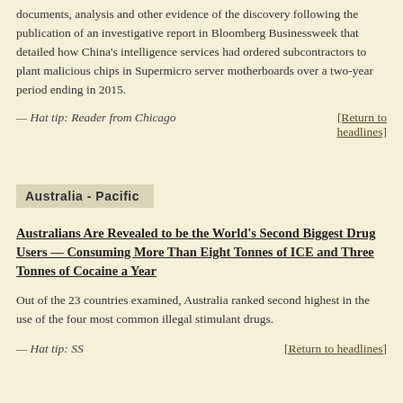documents, analysis and other evidence of the discovery following the publication of an investigative report in Bloomberg Businessweek that detailed how China's intelligence services had ordered subcontractors to plant malicious chips in Supermicro server motherboards over a two-year period ending in 2015.
— Hat tip: Reader from Chicago    [Return to headlines]
Australia - Pacific
Australians Are Revealed to be the World's Second Biggest Drug Users — Consuming More Than Eight Tonnes of ICE and Three Tonnes of Cocaine a Year
Out of the 23 countries examined, Australia ranked second highest in the use of the four most common illegal stimulant drugs.
— Hat tip: SS    [Return to headlines]